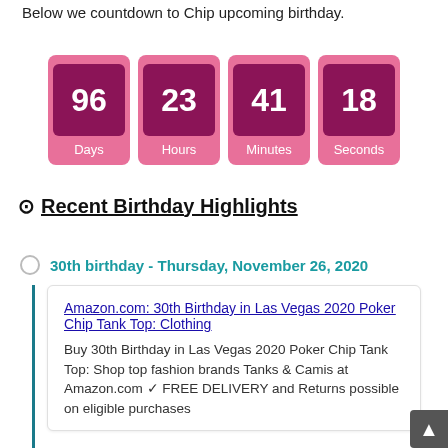Below we countdown to Chip upcoming birthday.
[Figure (infographic): A countdown timer showing 96 Days, 23 Hours, 41 Minutes, 18 Seconds in pink boxes with dark pink number squares]
⊙ Recent Birthday Highlights
30th birthday - Thursday, November 26, 2020
Amazon.com: 30th Birthday in Las Vegas 2020 Poker Chip Tank Top: Clothing
Buy 30th Birthday in Las Vegas 2020 Poker Chip Tank Top: Shop top fashion brands Tanks & Camis at Amazon.com ✓ FREE DELIVERY and Returns possible on eligible purchases